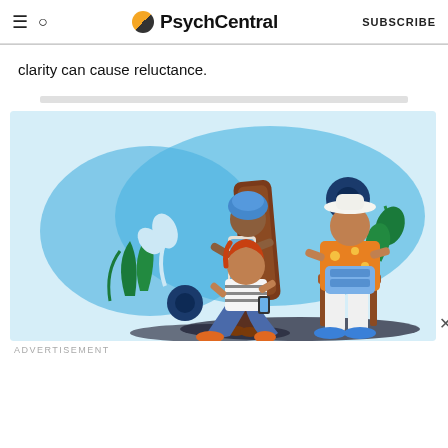PsychCentral  SUBSCRIBE
clarity can cause reluctance.
[Figure (illustration): Colorful illustration of three people in a garden/outdoor setting with blue floral background. A person wearing a blue turban carries a large brown object on their back. Another person in an orange floral shirt sits on a chair holding a blue bag. A third person with red hair sits on the ground looking up, holding a phone.]
ADVERTISEMENT